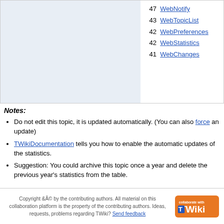| 47 | WebNotify |
| 43 | WebTopicList |
| 42 | WebPreferences |
| 42 | WebStatistics |
| 41 | WebChanges |
Notes:
Do not edit this topic, it is updated automatically. (You can also force an update)
TWikiDocumentation tells you how to enable the automatic updates of the statistics.
Suggestion: You could archive this topic once a year and delete the previous year's statistics from the table.
This topic: PescandoLetras > WebHome > WebStatistics
Topic revision: r472 - 02 Dec 2011 - 00:00:11 - TWikiAdminGroup
Copyright &Â© by the contributing authors. All material on this collaboration platform is the property of the contributing authors. Ideas, requests, problems regarding TWiki? Send feedback